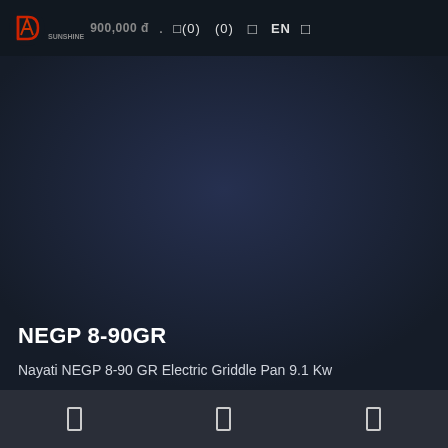900,000 đ  .(0)  (0)  []  EN  []
[Figure (screenshot): Dark product image area, mostly dark navy/charcoal background with no visible product detail]
NEGP 8-90GR
Nayati NEGP 8-90 GR Electric Griddle Pan 9.1 Kw
[ ] [ ] [ ]